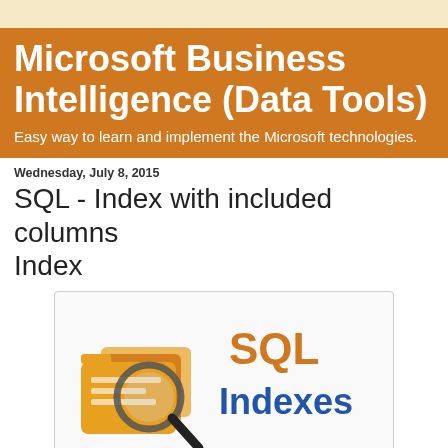Microsoft Business Intelligence (Data Tools)
Easy way to learn and implement the Microsoft technologies.
Wednesday, July 8, 2015
SQL - Index with included columns Index
[Figure (illustration): SQL Indexes illustration showing a magnifying glass over a folder of documents with the text 'SQL Indexes' in orange and blue]
This feature has been introduced with SQL Server 2005 which intends to the functionality of nonclustered indexes by adding nonkey columns to the leaf level of the nonclustered